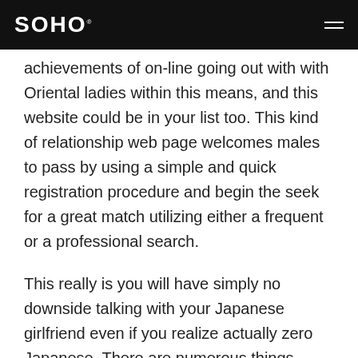SOHO
achievements of on-line going out with with Oriental ladies within this means, and this website could be in your list too. This kind of relationship web page welcomes males to pass by using a simple and quick registration procedure and begin the seek for a great match utilizing either a frequent or a professional search.
This really is you will have simply no downside talking with your Japanese girlfriend even if you realize actually zero Japanese. There are numerous things which make Japanese females incredible intended for marriage. They are simply absolutely genuine and by not any means include pent-up frustrations that final